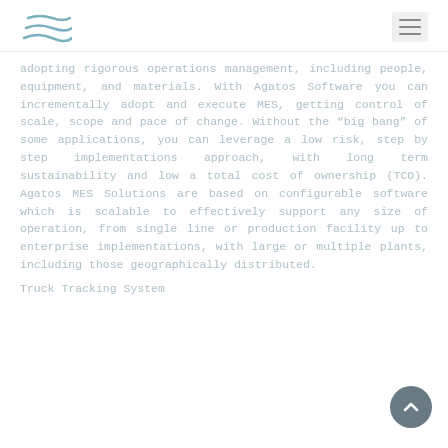Agatos Software logo and navigation menu
adopting rigorous operations management, including people, equipment, and materials. With Agatos Software you can incrementally adopt and execute MES, getting control of scale, scope and pace of change. Without the "big bang" of some applications, you can leverage a low risk, step by step implementations approach, with long term sustainability and low a total cost of ownership (TCO). Agatos MES Solutions are based on configurable software which is scalable to effectively support any size of operation, from single line or production facility up to enterprise implementations, with large or multiple plants, including those geographically distributed.
Truck Tracking System